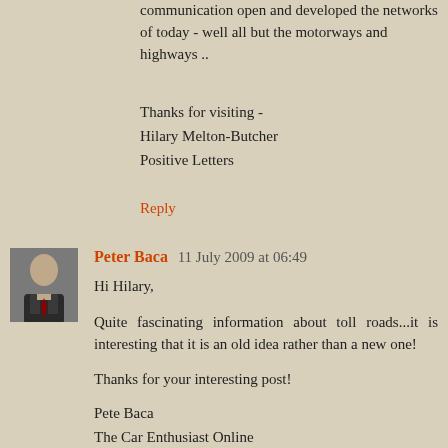communication open and developed the networks of today - well all but the motorways and highways ..
Thanks for visiting -
Hilary Melton-Butcher
Positive Letters
Reply
Peter Baca 11 July 2009 at 06:49
Hi Hilary,
Quite fascinating information about toll roads...it is interesting that it is an old idea rather than a new one!
Thanks for your interesting post!
Pete Baca
The Car Enthusiast Online
Reply